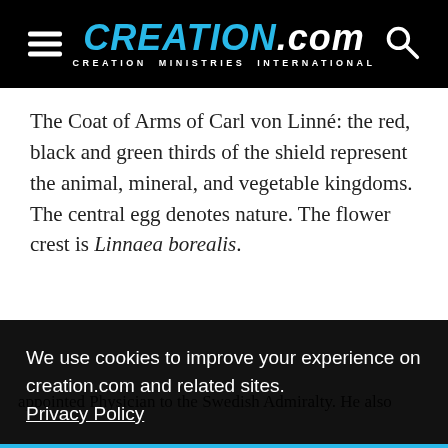CREATION.com — CREATION MINISTRIES INTERNATIONAL
The Coat of Arms of Carl von Linné: the red, black and green thirds of the shield represent the animal, mineral, and vegetable kingdoms. The central egg denotes nature. The flower crest is Linnaea borealis.
...al ...is that ...s to ...at the ...d ...e was appointed Physician to the Swedish Admiralty. He also
We use cookies to improve your experience on creation.com and related sites. Privacy Policy
Understood